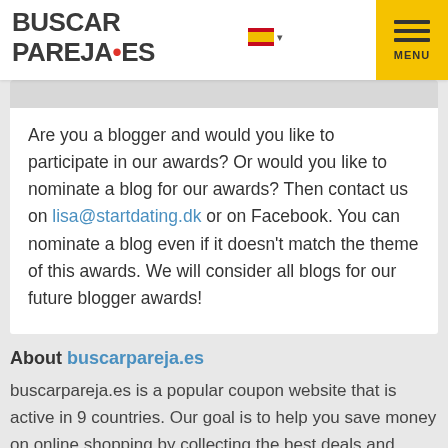[Figure (logo): BUSCAR PAREJA.ES logo with red dot, and a Spanish flag icon with dropdown arrow]
Are you a blogger and would you like to participate in our awards? Or would you like to nominate a blog for our awards? Then contact us on lisa@startdating.dk or on Facebook. You can nominate a blog even if it doesn't match the theme of this awards. We will consider all blogs for our future blogger awards!
About buscarpareja.es
buscarpareja.es is a popular coupon website that is active in 9 countries. Our goal is to help you save money on online shopping by collecting the best deals and coupons for all your favourite webshops in one place. With our coupons you can usually save between 5%-25% –